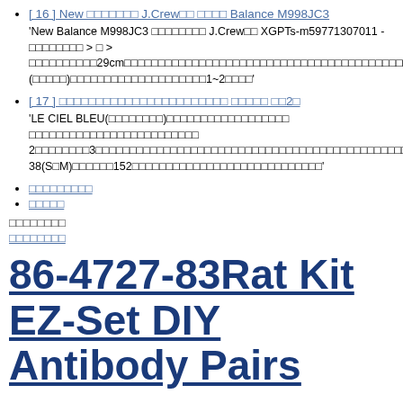[ 16 ] New xxxxxxx J.Crewxx xxxx Balance M998JC3
'New Balance M998JC3 xxxxxxxx J.Crewxx XGPTs-m59771307011 - xxxxxxxxx > x > xxxxxxxxxxxx29cmxxxxxxxxxxxxxxxxxxxxxxxxxxxxxxxxxxxxxxxxxx(xxxxxx)xxxxxxxxxxxxxxxxx (xxxxx)xxxxxxxxxxxxxxxxxx x1~2xxxxx'
[ 17 ] xxxxxxxxxxxxxxxxxxxxxxxx xxxxx xx2x
'LE CIEL BLEU(xxxxxxxx)xxxxxxxxxxxxxxxxxx xxxxxxxxxxxxxxxxxxxxxxxxx 2xxxxxxxx3xxxxxxxxxxxxxxxxxxxxxxxxxxxxxxxxxxxxxxxxxxxxxxxxxxxxxxxxxxxxxxxx 38(SxM)xxxxxxx152xxxxxxxxxxxxxxxxxxxxxxxxxxxxxx'
xxxxxxxxx
xxxxx
xxxxxxxx
xxxxxxxx
86-4727-83Rat Kit EZ-Set DIY Antibody Pairs